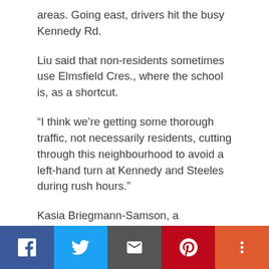areas. Going east, drivers hit the busy Kennedy Rd.
Liu said that non-residents sometimes use Elmsfield Cres., where the school is, as a shortcut.
“I think we’re getting some thorough traffic, not necessarily residents, cutting through this neighbourhood to avoid a left-hand turn at Kennedy and Steeles during rush hours.”
Kasia Briegmann-Samson, a spokesperson for Friends and Families for Safe Streets, an organization working to end traffic collisions, called on citizens to seriously reflect on road safety in
Facebook | Twitter | Email | Pinterest | More